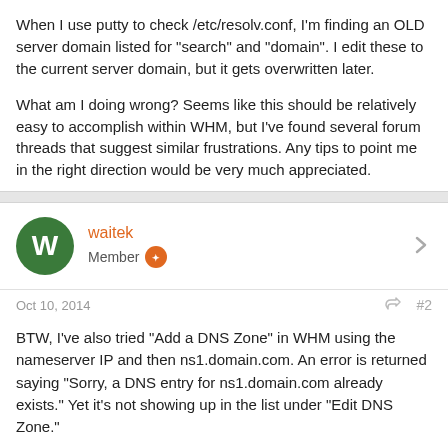When I use putty to check /etc/resolv.conf, I'm finding an OLD server domain listed for "search" and "domain". I edit these to the current server domain, but it gets overwritten later.

What am I doing wrong? Seems like this should be relatively easy to accomplish within WHM, but I've found several forum threads that suggest similar frustrations. Any tips to point me in the right direction would be very much appreciated.
waitek
Member
Oct 10, 2014
#2
BTW, I've also tried "Add a DNS Zone" in WHM using the nameserver IP and then ns1.domain.com. An error is returned saying "Sorry, a DNS entry for ns1.domain.com already exists." Yet it's not showing up in the list under "Edit DNS Zone."